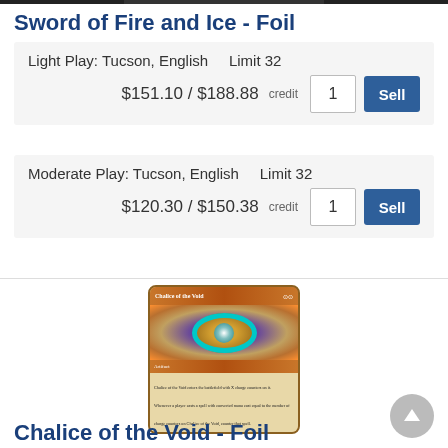Sword of Fire and Ice - Foil
Light Play: Tucson, English    Limit 32
$151.10 / $188.88 credit  1  Sell
Moderate Play: Tucson, English    Limit 32
$120.30 / $150.38 credit  1  Sell
[Figure (photo): Trading card image: Chalice of the Void magic card with bronze/gold frame, artifact artwork showing a chalice with teal rings]
Chalice of the Void - Foil